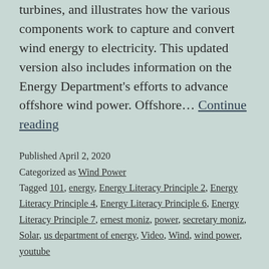turbines, and illustrates how the various components work to capture and convert wind energy to electricity. This updated version also includes information on the Energy Department's efforts to advance offshore wind power. Offshore… Continue reading
Published April 2, 2020
Categorized as Wind Power
Tagged 101, energy, Energy Literacy Principle 2, Energy Literacy Principle 4, Energy Literacy Principle 6, Energy Literacy Principle 7, ernest moniz, power, secretary moniz, Solar, us department of energy, Video, Wind, wind power, youtube